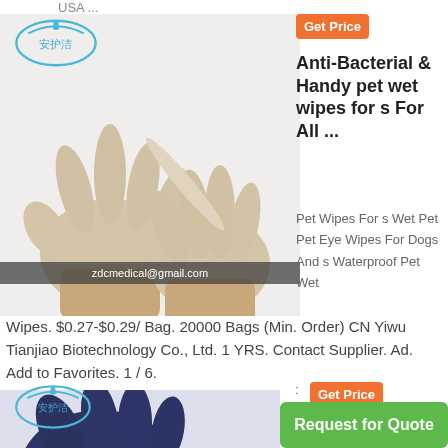USA ...
[Figure (photo): Two gloved hands stretching a medical/latex glove, with a Chinese brand logo (安护洁) in the top-left, and a watermark 'zdcmedical@gmail.com' at the bottom of the image.]
Get Price
Anti-Bacterial & Handy pet wet wipes for s For All ...
Pet Wipes For s Wet Pet Pet Eye Wipes For Dogs And s Waterproof Pet Wet Wipes. $0.27-$0.29/ Bag. 20000 Bags (Min. Order) CN Yiwu Tianjiao Biotechnology Co., Ltd. 1 YRS. Contact Supplier. Ad. Add to Favorites. 1 / 6.
[Figure (logo): Chinese brand logo 安护洁 (second instance)]
:
Get Price
Arava Pet Eye Wipes,100 Count,
[Figure (photo): Dark blue/navy latex glove partial view]
Request for Quote